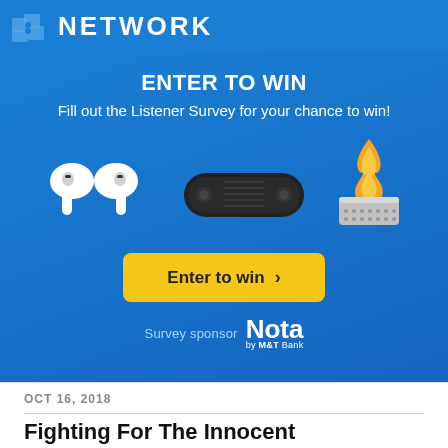NETWORK
ENTER TO WIN
Fill out the Listener Survey for your chance to win!
[Figure (photo): Three prize items: white Apple AirPods Pro earbuds, black Bluetooth pill-shaped speaker, and a stainless steel portable fire pit with flames]
Enter to win ›
Survey sponsor  Nota by M&T Bank
OCT 16, 2018
Fighting For The Innocent